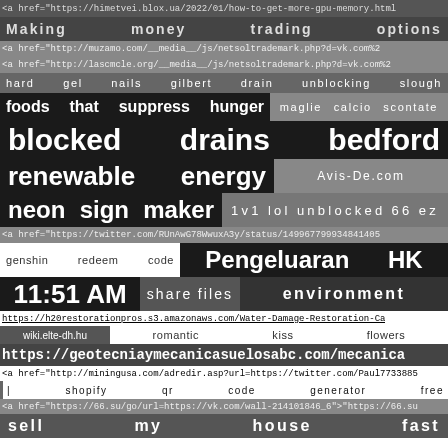<a href="https://himetvei.blox.ua/2022/01/how-to-get-more-gpu-memory.html
Making money trading options
<a href="http://muzamo.com/__media__/js/netsoltrademark.php?d=vk.com%2
<a href="http://lascmcle.org/__media__/js/netsoltrademark.php?d=vk.com%2
hard gel nails gilbert drain unblocking slough
foods that suppress hunger
maglie calcio scontate
blocked drains bedford
renewable energy
Avis-De.com
neon sign maker
1v1 lol unblocked 66 ez
<a href="https://twitter.com/RUnAwG78WwuxA3y/status/149967799934841405
genshin redeem code
Pengeluaran HK
11:51 AM
share files
environment
https://h20restorationpros.s3.amazonaws.com/Water-Damage-Restoration-Ca
wiki.elte-dh.hu
romantic kiss flowers
https://geotecniaymecanicasuelosabc.com/mecanica
<a href="http://miningusa.com/adredir.asp?url=https://twitter.com/Paul7733885
| shopify qr code generator free
<a href="https://66.su/go/url=https://vk.com/wall-214101846_6">"https://66.su
sell my house fast
<a href="http://tool.pfan.cn/daohang/link?url=https://vk.com/wall-214218228_4
preços de transferencia consultoria
It solutions Dublin
<a href="http://skspss.com/__media__/js/netsoltrademark.php?d=vk.com%2F
top rated nail salon mesa